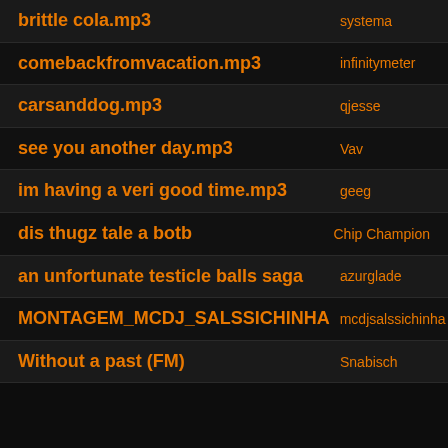brittle cola.mp3 | systema
comebackfromvacation.mp3 | infinitymeter
carsanddog.mp3 | qjesse
see you another day.mp3 | Vav
im having a veri good time.mp3 | geeg
dis thugz tale a botb | Chip Champion
an unfortunate testicle balls saga | azurglade
MONTAGEM_MCDJ_SALSSICHINHA | mcdjsalssichinha
Without a past (FM) | Snabisch